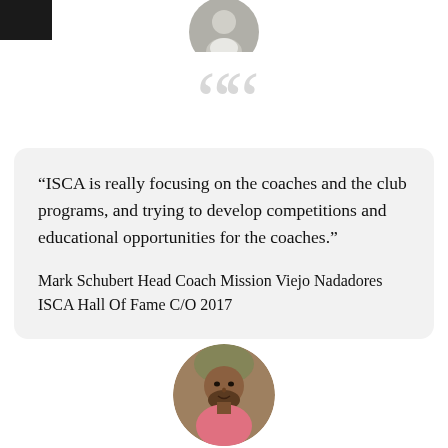[Figure (photo): Circular portrait photo of a person at the top of the page, partially cropped]
“ISCA is really focusing on the coaches and the club programs, and trying to develop competitions and educational opportunities for the coaches.”
Mark Schubert Head Coach Mission Viejo Nadadores ISCA Hall Of Fame C/O 2017
[Figure (photo): Circular portrait photo of a man with a beard wearing a pink shirt, at the bottom of the page]